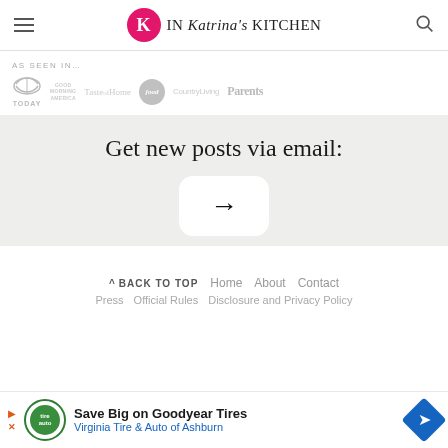In Katrina's Kitchen
[Figure (logo): As seen in logos: TODAY, Good Morning America, Taste of Home, Food Network, Country Living, Parents]
Get new posts via email:
[Figure (other): Arrow button for email subscription]
^ BACK TO TOP  Home  About  Contact  Press  Official Rules  Disclosure and Privacy Policy
[Figure (other): Advertisement: Save Big on Goodyear Tires — Virginia Tire & Auto of Ashburn]